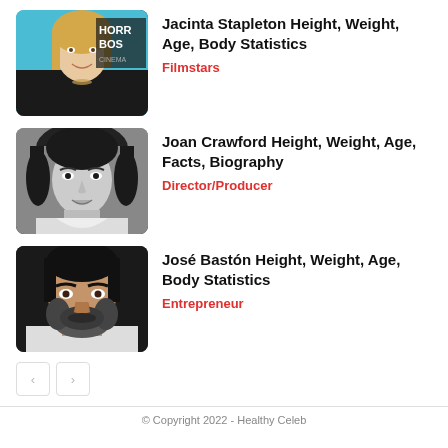[Figure (photo): Photo of Jacinta Stapleton at a horror event, blonde woman in black outfit, teal background with text HORR BOS CINEMA]
Jacinta Stapleton Height, Weight, Age, Body Statistics
Filmstars
[Figure (photo): Black and white photo of Joan Crawford, classic Hollywood actress portrait]
Joan Crawford Height, Weight, Age, Facts, Biography
Director/Producer
[Figure (photo): Photo of José Bastón, man with dark beard and hair against dark background]
José Bastón Height, Weight, Age, Body Statistics
Entrepreneur
© Copyright 2022 - Healthy Celeb